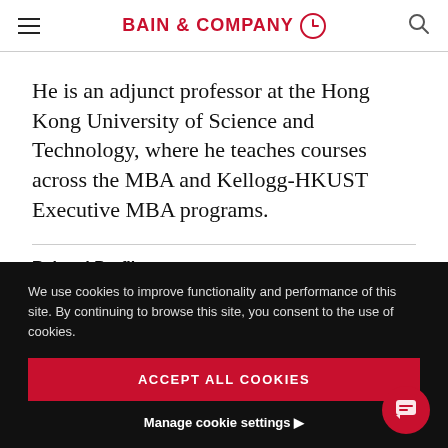BAIN & COMPANY
He is an adjunct professor at the Hong Kong University of Science and Technology, where he teaches courses across the MBA and Kellogg-HKUST Executive MBA programs.
Related Profiles
We use cookies to improve functionality and performance of this site. By continuing to browse this site, you consent to the use of cookies.
ACCEPT ALL COOKIES
Manage cookie settings ▶